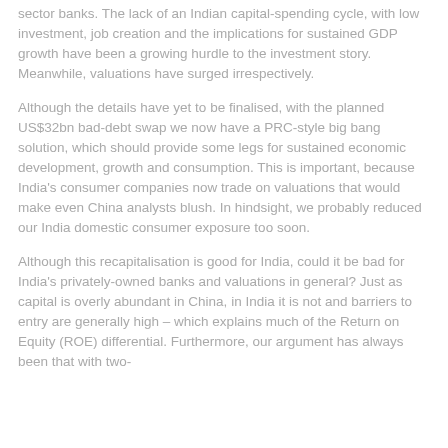sector banks. The lack of an Indian capital-spending cycle, with low investment, job creation and the implications for sustained GDP growth have been a growing hurdle to the investment story. Meanwhile, valuations have surged irrespectively.
Although the details have yet to be finalised, with the planned US$32bn bad-debt swap we now have a PRC-style big bang solution, which should provide some legs for sustained economic development, growth and consumption. This is important, because India's consumer companies now trade on valuations that would make even China analysts blush. In hindsight, we probably reduced our India domestic consumer exposure too soon.
Although this recapitalisation is good for India, could it be bad for India's privately-owned banks and valuations in general? Just as capital is overly abundant in China, in India it is not and barriers to entry are generally high – which explains much of the Return on Equity (ROE) differential. Furthermore, our argument has always been that with two-